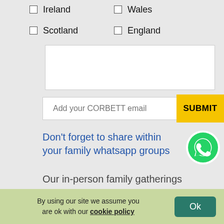☐ Ireland
☐ Wales
☐ Scotland
☐ England
[Figure (screenshot): Textarea input box (empty)]
Add your CORBETT email
SUBMIT
Don't forget to share within your family whatsapp groups
[Figure (logo): WhatsApp green phone icon logo]
Our in-person family gatherings
By using our site we assume you are ok with our cookie policy
Ok